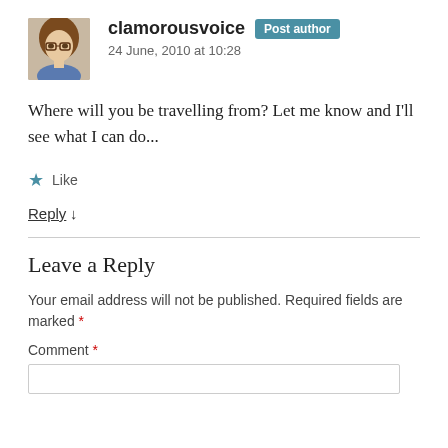[Figure (photo): Avatar/profile photo of a woman with glasses and brown hair]
clamorousvoice Post author
24 June, 2010 at 10:28
Where will you be travelling from? Let me know and I'll see what I can do...
★ Like
Reply ↓
Leave a Reply
Your email address will not be published. Required fields are marked *
Comment *